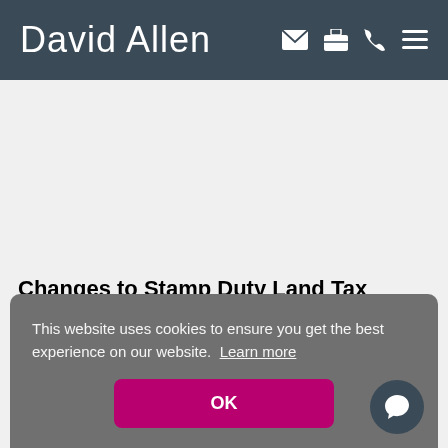David Allen
Changes to Stamp Duty Land Tax Holiday
25 January 2021
This website uses cookies to ensure you get the best experience on our website. Learn more
OK